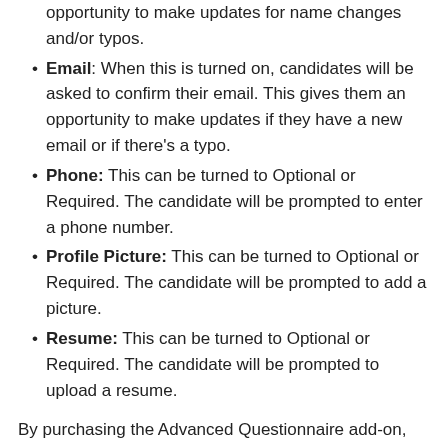opportunity to make updates for name changes and/or typos.
Email: When this is turned on, candidates will be asked to confirm their email. This gives them an opportunity to make updates if they have a new email or if there's a typo.
Phone: This can be turned to Optional or Required. The candidate will be prompted to enter a phone number.
Profile Picture: This can be turned to Optional or Required. The candidate will be prompted to add a picture.
Resume: This can be turned to Optional or Required. The candidate will be prompted to upload a resume.
By purchasing the Advanced Questionnaire add-on, you can customize questions with different response types such as:
Single line text: Create a question to which